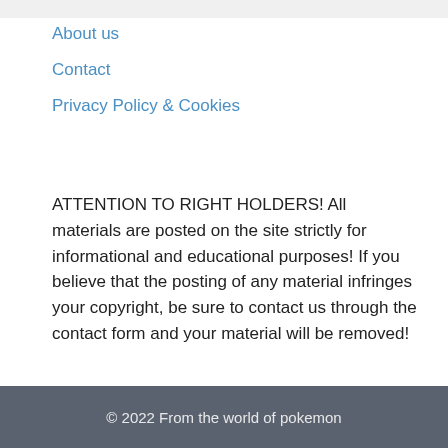About us
Contact
Privacy Policy & Cookies
ATTENTION TO RIGHT HOLDERS! All materials are posted on the site strictly for informational and educational purposes! If you believe that the posting of any material infringes your copyright, be sure to contact us through the contact form and your material will be removed!
© 2022 From the world of pokemon